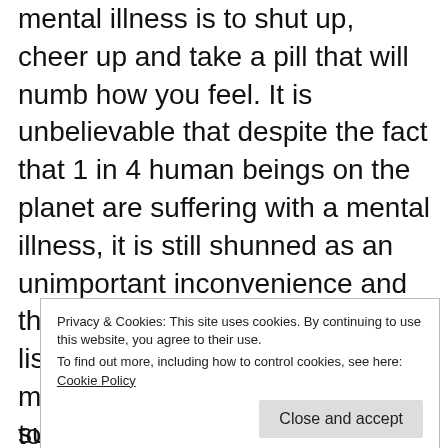mental illness is to shut up, cheer up and take a pill that will numb how you feel. It is unbelievable that despite the fact that 1 in 4 human beings on the planet are suffering with a mental illness, it is still shunned as an unimportant inconvenience and the bottom of everyone's priority list. Why is the idea of being mentally unwell so difficult for us to talk about?
Privacy & Cookies: This site uses cookies. By continuing to use this website, you agree to their use. To find out more, including how to control cookies, see here: Cookie Policy
supposed to feel, think, do and be. We are